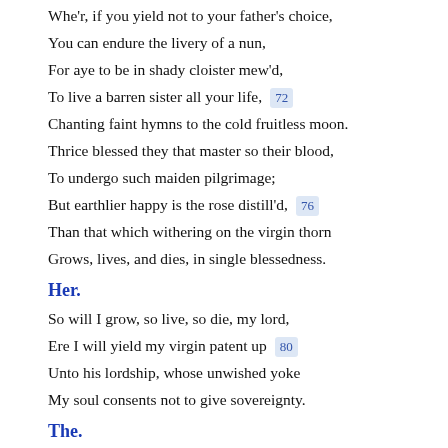Whe'r, if you yield not to your father's choice,
You can endure the livery of a nun,
For aye to be in shady cloister mew'd,
To live a barren sister all your life,  72
Chanting faint hymns to the cold fruitless moon.
Thrice blessed they that master so their blood,
To undergo such maiden pilgrimage;
But earthlier happy is the rose distill'd,  76
Than that which withering on the virgin thorn
Grows, lives, and dies, in single blessedness.
Her.
So will I grow, so live, so die, my lord,
Ere I will yield my virgin patent up  80
Unto his lordship, whose unwished yoke
My soul consents not to give sovereignty.
The.
Take time to pause; and, by the next new moon,—
The sealing day betwixt my love and me,